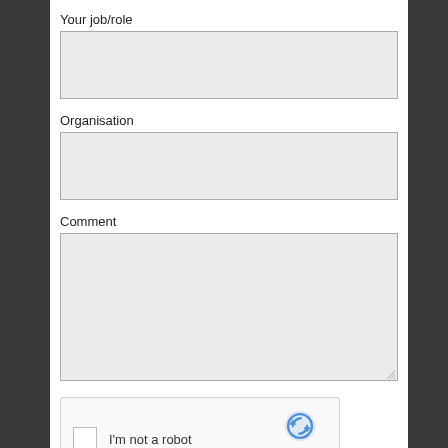Your job/role
[Figure (other): Empty text input field for job/role]
Organisation
[Figure (other): Empty text input field for organisation]
Comment
[Figure (other): Empty textarea for comment with resize handle]
[Figure (other): reCAPTCHA widget with checkbox 'I'm not a robot' and reCAPTCHA logo with Privacy - Terms links]